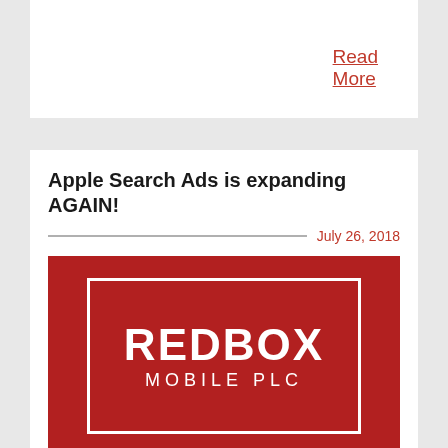Read More
Apple Search Ads is expanding AGAIN!
July 26, 2018
[Figure (logo): Redbox Mobile PLC logo — white text on dark red background with bracket corner marks and a rectangular border]
Since running their first Ad at the top of the US App Store in 2016, Apple search ads have expanded their reach by introducing waves of new 'storefronts'